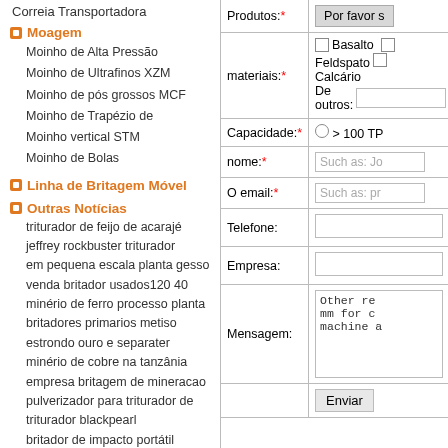Correia Transportadora
Moagem
Moinho de Alta Pressão
Moinho de Ultrafinos XZM
Moinho de pós grossos MCF
Moinho de Trapézio de
Moinho vertical STM
Moinho de Bolas
Linha de Britagem Móvel
Outras Notícias
triturador de feijo de acarajé
jeffrey rockbuster triturador
em pequena escala planta gesso
venda britador usados120 40
minério de ferro processo planta
britadores primarios metiso
estrondo ouro e separater
minério de cobre na tanzânia
empresa britagem de mineracao
pulverizador para triturador de
triturador blackpearl
britador de impacto portátil
| Field | Value |
| --- | --- |
| Produtos:* | Por favor s |
| materiais:* | Basalto, Feldspato, Calcário, De outros: |
| Capacidade:* | > 100 TP |
| nome:* | Such as: Jo |
| O email:* | Such as: pr |
| Telefone: |  |
| Empresa: |  |
| Mensagem: | Other rec mm for cr machine a |
|  | Enviar |